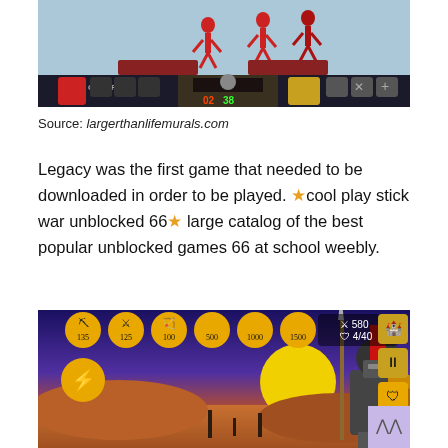[Figure (screenshot): Screenshot of Stick War Legacy game showing battle scene with stick figures on a blue/gray background and HUD at bottom]
Source: largerthanlifemurals.com
Legacy was the first game that needed to be downloaded in order to be played. ★cool play stick war unblocked 66★ large catalog of the best popular unblocked games 66 at school weebly.
[Figure (screenshot): Screenshot of Stick War game showing warrior character with spear and helmet on desert background with game UI buttons]